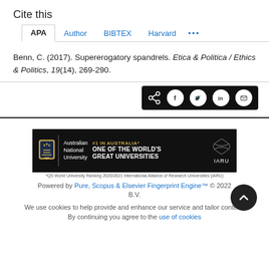Cite this
APA  Author  BIBTEX  Harvard  ...
Benn, C. (2017). Supererogatory spandrels. Etica & Politica / Ethics & Politics, 19(14), 269-290.
[Figure (other): Social share buttons bar (share, Facebook, Twitter, LinkedIn, email) on black background]
[Figure (other): Australian National University banner: #1 in Australia, One of the World's Great Universities, IARU logo]
*QS World University Ranking 2020/2021 International Alliance of Research Universities (IARU)
Powered by Pure, Scopus & Elsevier Fingerprint Engine™ © 2022 B.V.
We use cookies to help provide and enhance our service and tailor content. By continuing you agree to the use of cookies